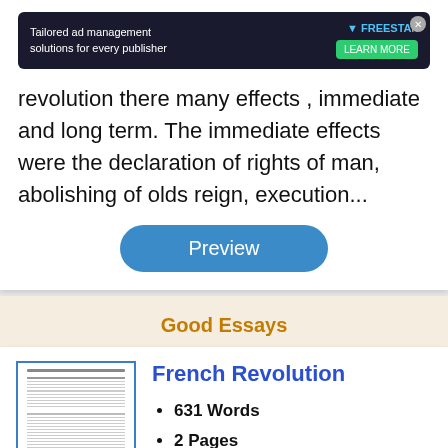[Figure (screenshot): Advertisement banner: dark background with text 'Tailored ad management solutions for every publisher', green learn more button, Freestar logo]
revolution there many effects , immediate and long term. The immediate effects were the declaration of rights of man, abolishing of olds reign, execution...
[Figure (other): Blue rounded rectangle Preview button]
Good Essays
[Figure (screenshot): Thumbnail of a document page representing the French Revolution essay]
French Revolution
631 Words
2 Pages